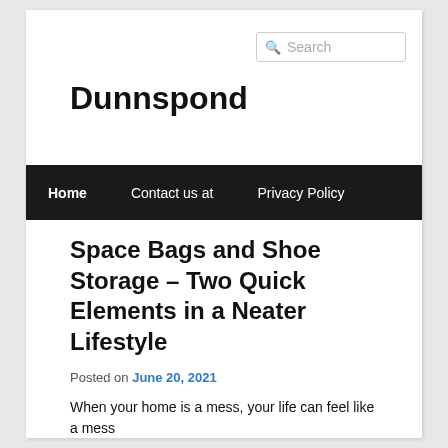Search
Dunnspond
Home    Contact us at    Privacy Policy
Space Bags and Shoe Storage – Two Quick Elements in a Neater Lifestyle
Posted on June 20, 2021
When your home is a mess, your life can feel like a mess